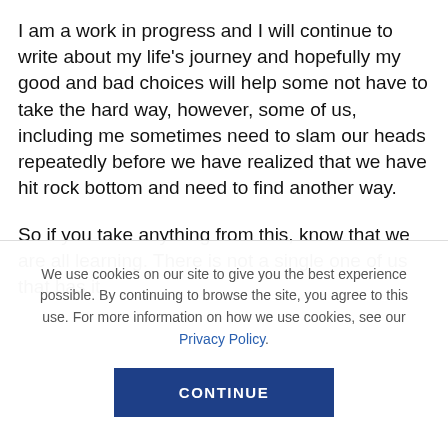I am a work in progress and I will continue to write about my life's journey and hopefully my good and bad choices will help some not have to take the hard way, however, some of us, including me sometimes need to slam our heads repeatedly before we have realized that we have hit rock bottom and need to find another way.

So if you take anything from this, know that we are all learning. There is not a single one of us that has it
We use cookies on our site to give you the best experience possible. By continuing to browse the site, you agree to this use. For more information on how we use cookies, see our Privacy Policy.